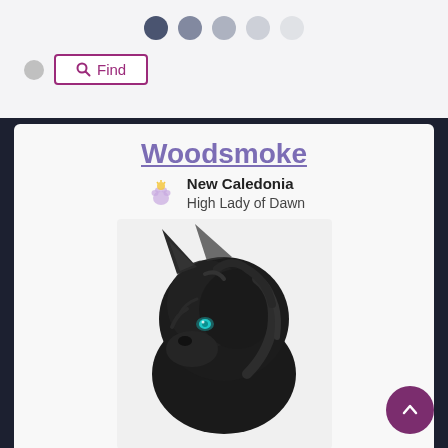[Figure (screenshot): Navigation dot indicators row at top — 5 circles, first dark blue, progressively lighter]
[Figure (screenshot): Search UI with grey circle avatar placeholder and a 'Find' button with magnifying glass icon, purple-bordered]
Woodsmoke
New Caledonia
High Lady of Dawn
[Figure (illustration): Digital illustration of a dark black wolf head in profile facing left, with glowing teal eyes and dark shaggy fur, on a light background]
[Figure (other): Row of pixel-art game icons: paw, shield/circle, heart, and star/fairy icons]
[Figure (other): Scroll-to-top button: purple circle with upward chevron arrow]